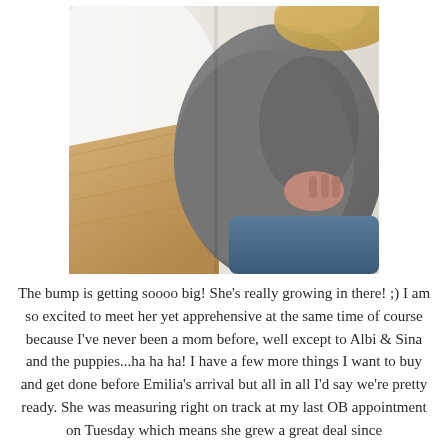[Figure (photo): A pregnant woman in a gray top and blue jeans, showing her baby bump from the side. Her hand is resting on her back. A wooden surface is visible in the background.]
The bump is getting soooo big!  She's really growing in there! ;)  I am so excited to meet her yet apprehensive at the same time of course because I've never been a mom before, well except to Albi & Sina and the puppies...ha ha ha!  I have a few more things I want to buy and get done before Emilia's arrival but all in all I'd say we're pretty ready.  She was measuring right on track at my last OB appointment on Tuesday which means she grew a great deal since